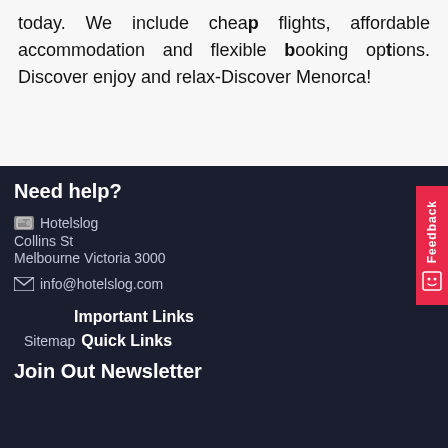today. We include cheap flights, affordable accommodation and flexible booking options. Discover enjoy and relax-Discover Menorca!
Need help?
Hotelslog
Collins St
Melbourne Victoria 3000
info@hotelslog.com
Important Links
Sitemap
Quick Links
Join Out Newsletter